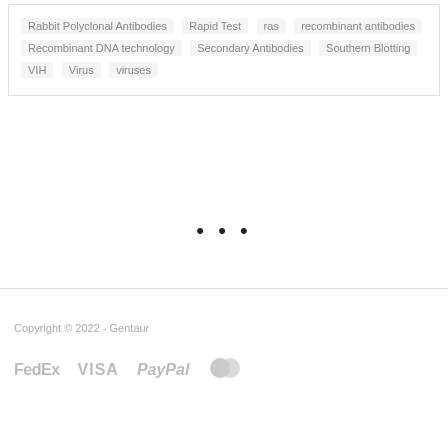Rabbit Polyclonal Antibodies  Rapid Test  ras  recombinant antibodies  Recombinant DNA technology  Secondary Antibodies  Southern Blotting  VIH  Virus  viruses
[Figure (other): Three black dots (loading indicator)]
Copyright © 2022 - Gentaur
[Figure (logo): Payment method logos: FedEx, VISA, PayPal, Mastercard]